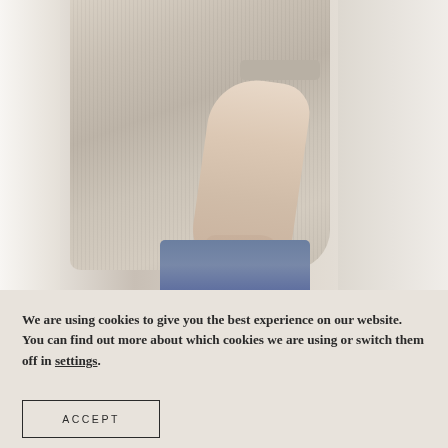[Figure (photo): A person wearing a beige ribbed knit oversized sweater and blue jeans, photographed from the side/torso down, showing one arm hanging down with rings on fingers. Light background with soft natural light from the left side.]
We are using cookies to give you the best experience on our website. You can find out more about which cookies we are using or switch them off in settings.
ACCEPT